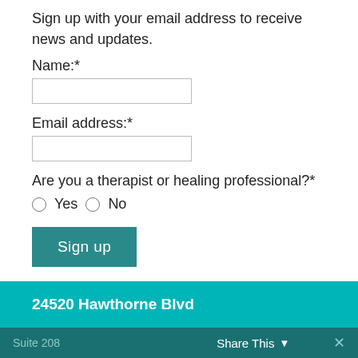Sign up with your email address to receive news and updates.
Name:*
Email address:*
Are you a therapist or healing professional?*
Yes   No
Sign up
24520 Hawthorne Blvd
Suite 208
Share This